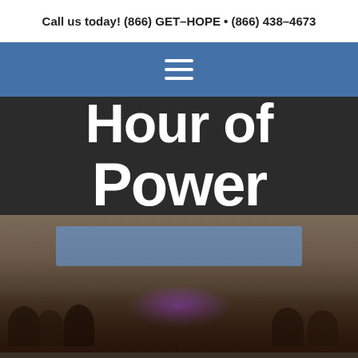Call us today! (866) GET-HOPE • (866) 438-4673
[Figure (other): Navigation hamburger menu icon (three horizontal white lines) on a blue background bar]
[Figure (other): Hour of Power logo text in large bold white letters on a dark charcoal background, showing 'Hour of Power']
[Figure (photo): Blurred photograph of a large indoor gathering or church event, showing a crowd of people with a blue banner in the background and purple stage lighting]
TAG ARCHIVE: INFLUENCE